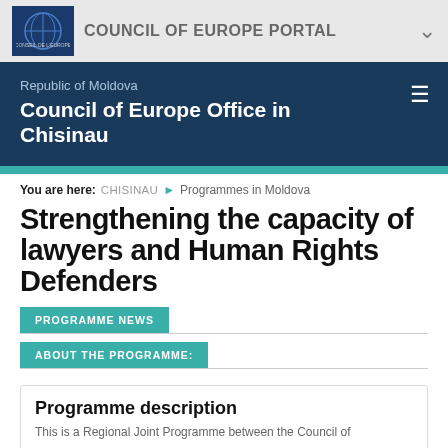COUNCIL OF EUROPE PORTAL
Republic of Moldova
Council of Europe Office in Chisinau
You are here: CHISINAU > Programmes in Moldova
Strengthening the capacity of lawyers and Human Rights Defenders
PROGRAMME NEWS
ABOUT THE PROGRAMME:
Programme description
This is a Regional Joint Programme between the Council of